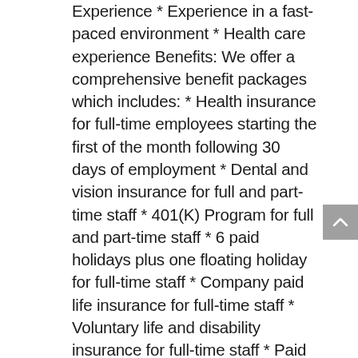Experience * Experience in a fast-paced environment * Health care experience Benefits: We offer a comprehensive benefit packages which includes: * Health insurance for full-time employees starting the first of the month following 30 days of employment * Dental and vision insurance for full and part-time staff * 401(K) Program for full and part-time staff * 6 paid holidays plus one floating holiday for full-time staff * Company paid life insurance for full-time staff * Voluntary life and disability insurance for full-time staff * Paid Time Off Our mission is to establish a culture that reinforces the values necessary to be the premier health services provider and employer in each of the communities we serve. We understand that choosing where you want to go in your career is a big decision. We would like the opportunity to show you that